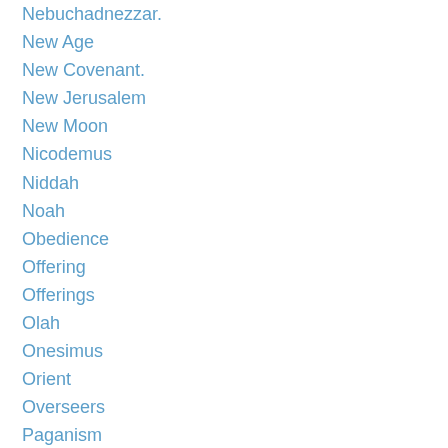Nebuchadnezzar.
New Age
New Covenant.
New Jerusalem
New Moon
Nicodemus
Niddah
Noah
Obedience
Offering
Offerings
Olah
Onesimus
Orient
Overseers
Paganism
Paradise
Parenthood
Parenting
Parents
Passion